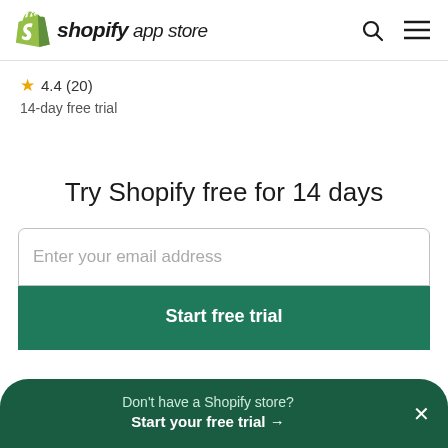shopify app store
★ 4.4 (20)
14-day free trial
Try Shopify free for 14 days
Enter your email address
Start free trial
Don't have a Shopify store? Start your free trial →